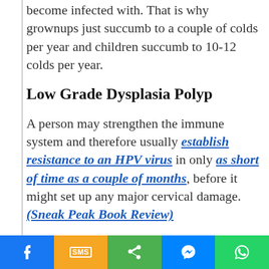become infected with. That is why grownups just succumb to a couple of colds per year and children succumb to 10-12 colds per year.
Low Grade Dysplasia Polyp
A person may strengthen the immune system and therefore usually establish resistance to an HPV virus in only as short of time as a couple of months, before it might set up any major cervical damage. (Sneak Peak Book Review)
Social share bar: Facebook, SMS, Share, Messenger, WhatsApp